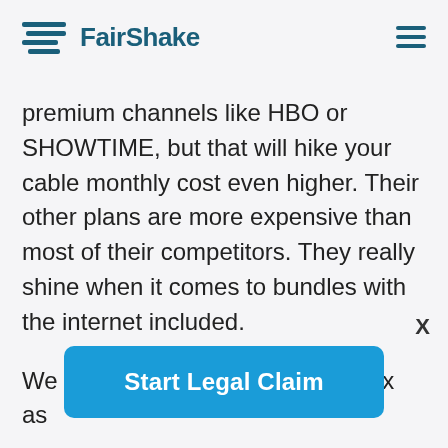FairShake
premium channels like HBO or SHOWTIME, but that will hike your cable monthly cost even higher. Their other plans are more expensive than most of their competitors. They really shine when it comes to bundles with the internet included.

We wouldn’t suggest choosing Cox as
X
Start Legal Claim